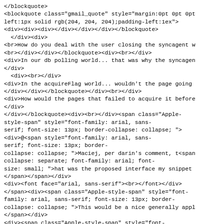</blockquote>
<blockquote class="gmail_quote" style="margin:0pt 0pt 0pt left:1px solid rgb(204, 204, 204);padding-left:1ex">
<div><div><div></div></div></div></blockquote>
  </div><div>
<br>How do you deal with the user closing the syncagent w
<br></div></div></blockquote><div><br></div>
<div>In our db polling world... that was why the syncagen
</div>
  <div><br></div>
<div>In the acquireFlag world... wouldn't the page going
</div></div></blockquote></div><br></div>
<div>How would the pages that failed to acquire it before
</div>
</div></blockquote><div><br></div><span class="Apple-
style-span" style="font-family: arial, sans-
serif; font-size: 13px; border-collapse: collapse; ">
<div>@<span style="font-family: arial, sans-
serif; font-size: 13px; border-
collapse: collapse; ">Maciej, per darin's comment, t<span
collapse: separate; font-family: arial; font-
size: small; ">hat was the proposed interface my snippet
</span></span></div>
<div><font face="arial, sans-serif"><br></font></div>
</span><div><span class="Apple-style-span" style="font-
family: arial, sans-serif; font-size: 13px; border-
collapse: collapse; ">This would be a nice generally appl
</span></div>
<div><span class="Apple-style-span" style="font-
family: arial, sans-serif; font-size: 13px; border-